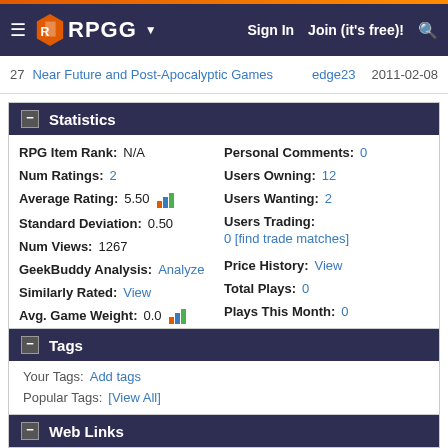RPGG | Sign In | Join (it's free)!
27 Near Future and Post-Apocalyptic Games | edge23 | 2011-02-08
Statistics
| Label | Value | Label | Value |
| --- | --- | --- | --- |
| RPG Item Rank: | N/A | Personal Comments: | 0 |
| Num Ratings: | 2 | Users Owning: | 12 |
| Average Rating: | 5.50 | Users Wanting: | 2 |
| Standard Deviation: | 0.50 | Users Trading: | 0 [find trade matches] |
| Num Views: | 1267 | Price History: | View |
| GeekBuddy Analysis: | Analyze | Total Plays: | 0 |
| Similarly Rated: | View | Plays This Month: | 0 |
| Avg. Game Weight: | 0.0 |  |  |
| Fans: | 0 |  |  |
Tags
Your Tags: Add tags
Popular Tags: [View All]
Web Links